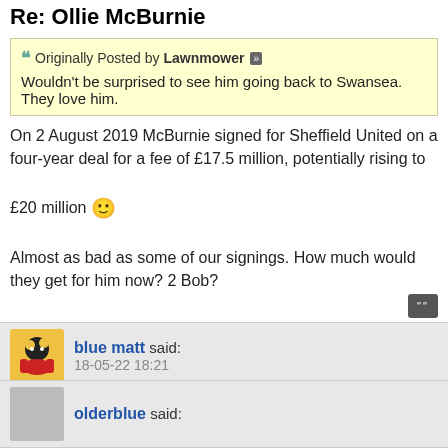Re: Ollie McBurnie
Originally Posted by Lawnmower
Wouldn't be surprised to see him going back to Swansea. They love him.
On 2 August 2019 McBurnie signed for Sheffield United on a four-year deal for a fee of £17.5 million, potentially rising to £20 million 🙂
Almost as bad as some of our signings. How much would they get for him now? 2 Bob?
blue matt said:
18-05-22 18:21
Re: Ollie McBurnie
stamping on some guy on the floor, if we are punishing the headbutt, then surely this must be treated the same ? ? ?
olderblue said: